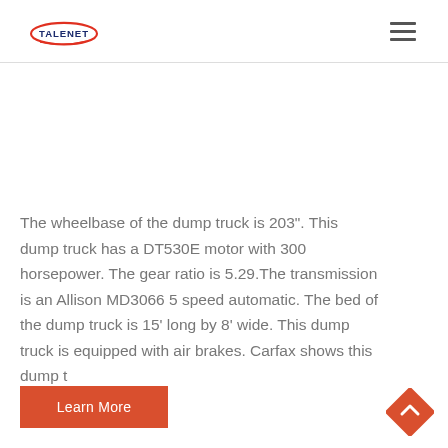TALENET
The wheelbase of the dump truck is 203". This dump truck has a DT530E motor with 300 horsepower. The gear ratio is 5.29.The transmission is an Allison MD3066 5 speed automatic. The bed of the dump truck is 15' long by 8' wide. This dump truck is equipped with air brakes. Carfax shows this dump t
Learn More